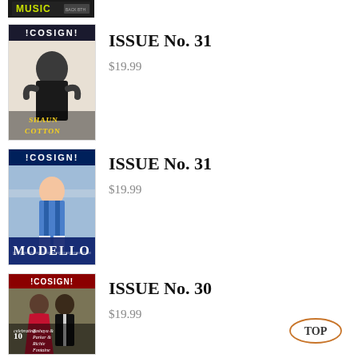[Figure (photo): Partial magazine cover visible at top of page, showing 'MUSIC' text on a dark background]
[Figure (photo): COSIGN magazine cover Issue No. 31 featuring Shaun Cotton]
ISSUE No. 31
$19.99
[Figure (photo): COSIGN magazine cover Issue No. 31 featuring Modello]
ISSUE No. 31
$19.99
[Figure (photo): COSIGN magazine cover Issue No. 30 featuring Tashaya Parker & Richie Fontaine, celebrating 10 years]
ISSUE No. 30
$19.99
TOP